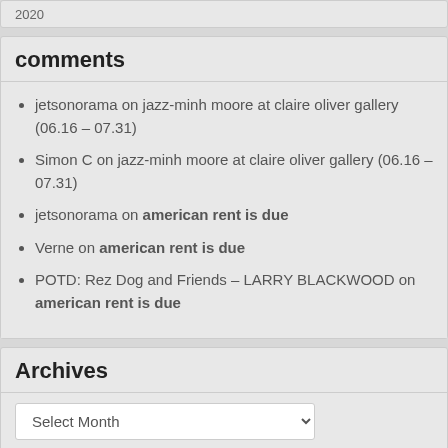2020
comments
jetsonorama on jazz-minh moore at claire oliver gallery (06.16 – 07.31)
Simon C on jazz-minh moore at claire oliver gallery (06.16 – 07.31)
jetsonorama on american rent is due
Verne on american rent is due
POTD: Rez Dog and Friends – LARRY BLACKWOOD on american rent is due
Archives
Select Month